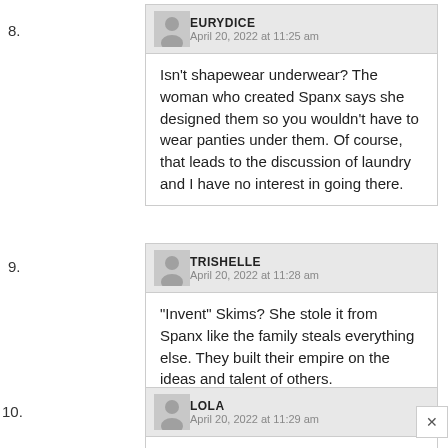8. EURYDICE — April 20, 2022 at 11:25 am — Isn't shapewear underwear? The woman who created Spanx says she designed them so you wouldn't have to wear panties under them. Of course, that leads to the discussion of laundry and I have no interest in going there.
9. TRISHELLE — April 20, 2022 at 11:28 am — "Invent" Skims? She stole it from Spanx like the family steals everything else. They built their empire on the ideas and talent of others.
10. LOLA — April 20, 2022 at 11:29 am — I cannot not wear underwear. I can't go to sleep unless I'm wearing a pair of knickers! Cotton, and never a g-string